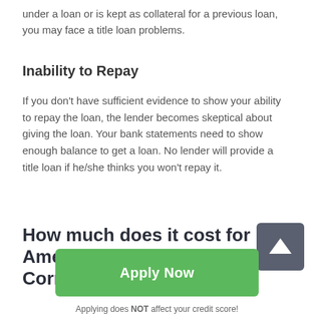under a loan or is kept as collateral for a previous loan, you may face a title loan problems.
Inability to Repay
If you don't have sufficient evidence to show your ability to repay the loan, the lender becomes skeptical about giving the loan. Your bank statements need to show enough balance to get a loan. No lender will provide a title loan if he/she thinks you won't repay it.
How much does it cost for America title loans Cornersville in Tennessee
Apply Now
Applying does NOT affect your credit score!
No credit check to apply.